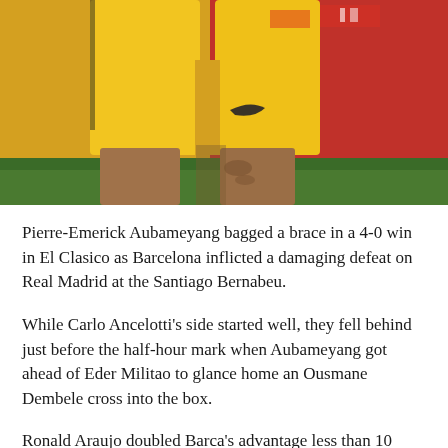[Figure (photo): Close-up of a footballer wearing a yellow Nike kit (shorts and shirt), crouching or leaning forward. The background shows a red advertising board and green pitch. The player has visible tattoos on their legs.]
Pierre-Emerick Aubameyang bagged a brace in a 4-0 win in El Clasico as Barcelona inflicted a damaging defeat on Real Madrid at the Santiago Bernabeu.
While Carlo Ancelotti's side started well, they fell behind just before the half-hour mark when Aubameyang got ahead of Eder Militao to glance home an Ousmane Dembele cross into the box.
Ronald Araujo doubled Barca's advantage less than 10